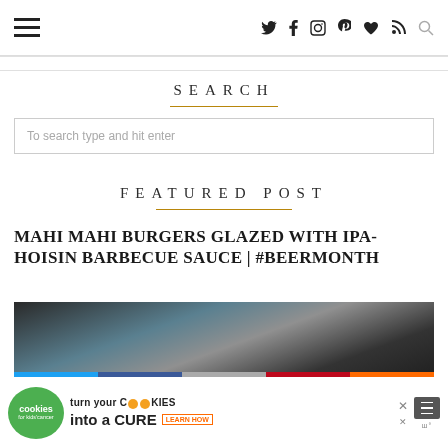Navigation bar with hamburger menu and social icons: Twitter, Facebook, Instagram, Pinterest, Bloglovin, RSS, Search
SEARCH
To search type and hit enter
FEATURED POST
MAHI MAHI BURGERS GLAZED WITH IPA-HOISIN BARBECUE SAUCE | #BEERMONTH
[Figure (photo): Dark food photograph of mahi mahi burgers, partially visible]
[Figure (infographic): Advertisement banner: cookies for kids cancer - turn your cookies into a cure, learn how]